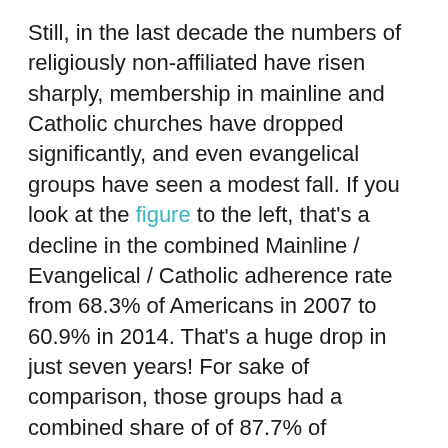Still, in the last decade the numbers of religiously non-affiliated have risen sharply, membership in mainline and Catholic churches have dropped significantly, and even evangelical groups have seen a modest fall. If you look at the figure to the left, that's a decline in the combined Mainline / Evangelical / Catholic adherence rate from 68.3% of Americans in 2007 to 60.9% in 2014. That's a huge drop in just seven years! For sake of comparison, those groups had a combined share of of 87.7% of American churchgoers in 1850 (see Finke and Stark, The Churching of America, page 56). To find adherence rates as low as today's, you have to go back to the 18th century. In other words, you have to look at the time of the First Great Awakening.
In the 18th century evangelicals were religious upstarts, tiny new denominations dwarfed by the much larger, established Congregationalist and